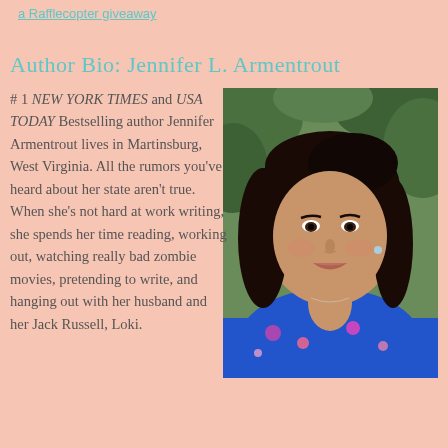a Rafflecopter giveaway
Author Bio: Jennifer L. Armentrout
[Figure (photo): Headshot photo of Jennifer L. Armentrout, a woman with long dark hair, smiling, wearing a colorful blue floral top, photographed outdoors with green foliage in background.]
# 1 NEW YORK TIMES and USA TODAY Bestselling author Jennifer Armentrout lives in Martinsburg, West Virginia. All the rumors you've heard about her state aren't true. When she's not hard at work writing, she spends her time reading, working out, watching really bad zombie movies, pretending to write, and hanging out with her husband and her Jack Russell, Loki.